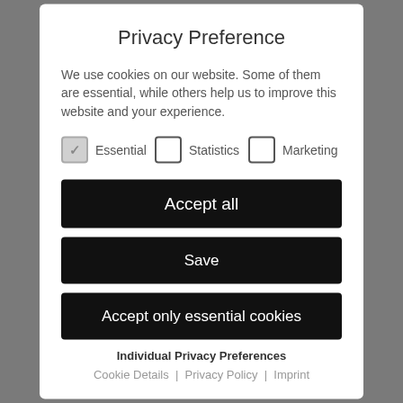Privacy Preference
We use cookies on our website. Some of them are essential, while others help us to improve this website and your experience.
Essential (checked)  Statistics (unchecked)  Marketing (unchecked)
Accept all
Save
Accept only essential cookies
Individual Privacy Preferences
Cookie Details  |  Privacy Policy  |  Imprint